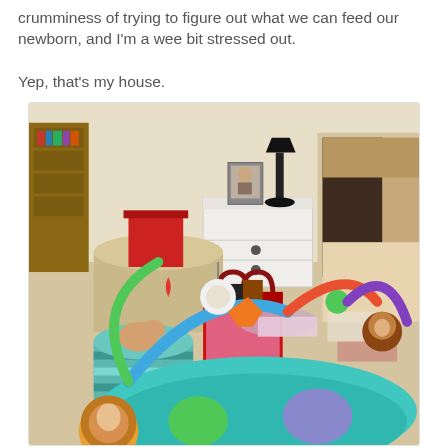crumminess of trying to figure out what we can feed our newborn, and I'm a wee bit stressed out.
Yep, that's my house.
[Figure (photo): A messy room with baby items scattered on the floor including a colorful baby play gym/activity mat in the foreground, bags filled with toys and items, a white nightstand with a lamp and photo frame, and a couch/sofa in the background.]